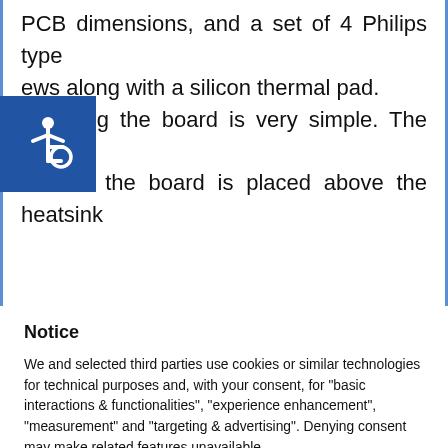PCB dimensions, and a set of 4 Philips type screws along with a silicon thermal pad. Assembling the board is very simple. The back side of the board is placed above the heatsink
[Figure (illustration): Accessibility icon: white wheelchair symbol on blue square background]
Notice
We and selected third parties use cookies or similar technologies for technical purposes and, with your consent, for “basic interactions & functionalities”, “experience enhancement”, “measurement” and “targeting & advertising”. Denying consent may make related features unavailable.
You can freely give, deny, or withdraw your consent at any time.
Reject
Accept
Learn more and customize